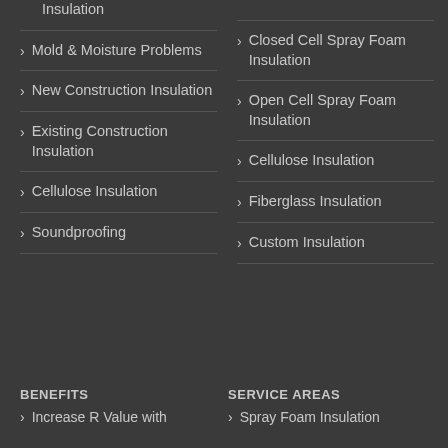Insulation
Mold & Moisture Problems
New Construction Insulation
Existing Construction Insulation
Cellulose Insulation
Soundproofing
Closed Cell Spray Foam Insulation
Open Cell Spray Foam Insulation
Cellulose Insulation
Fiberglass Insulation
Custom Insulation
BENEFITS
SERVICE AREAS
Increase R Value with
Spray Foam Insulation